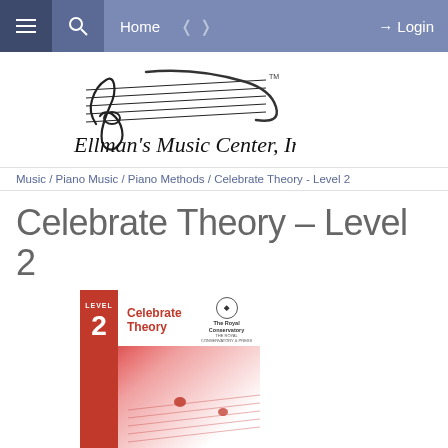Home | Login
[Figure (logo): Ellman's Music Center, Inc. logo with treble clef and music staff design]
Music / Piano Music / Piano Methods / Celebrate Theory - Level 2
Celebrate Theory - Level 2
[Figure (photo): Book cover for Celebrate Theory Level 2 by The Royal Conservatory, featuring a red spine with Level 2 label and a white cover with red gradient music staff design and the Celebrate Theory title in red]